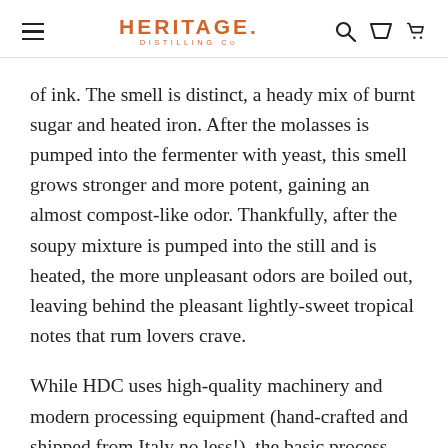HERITAGE. DISTILLING CO
of ink. The smell is distinct, a heady mix of burnt sugar and heated iron. After the molasses is pumped into the fermenter with yeast, this smell grows stronger and more potent, gaining an almost compost-like odor. Thankfully, after the soupy mixture is pumped into the still and is heated, the more unpleasant odors are boiled out, leaving behind the pleasant lightly-sweet tropical notes that rum lovers crave.
While HDC uses high-quality machinery and modern processing equipment (hand-crafted and shipped from Italy no less!), the basic process has